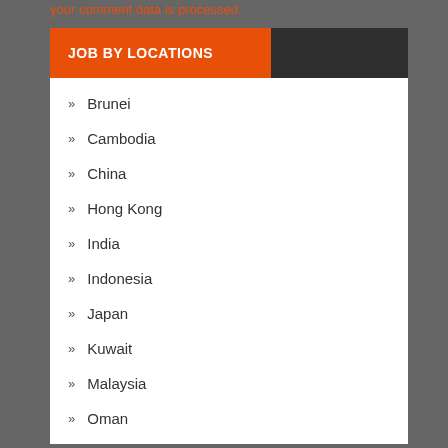your comment data is processed.
JOB BY LOCATIONS
Brunei
Cambodia
China
Hong Kong
India
Indonesia
Japan
Kuwait
Malaysia
Oman